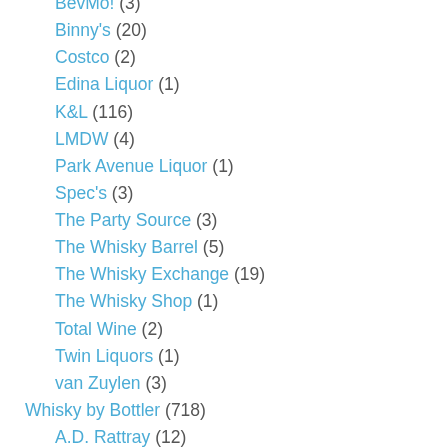BevMo! (3)
Binny's (20)
Costco (2)
Edina Liquor (1)
K&L (116)
LMDW (4)
Park Avenue Liquor (1)
Spec's (3)
The Party Source (3)
The Whisky Barrel (5)
The Whisky Exchange (19)
The Whisky Shop (1)
Total Wine (2)
Twin Liquors (1)
van Zuylen (3)
Whisky by Bottler (718)
A.D. Rattray (12)
Abbey Whisky (1)
Acorn (1)
Adelphi (4)